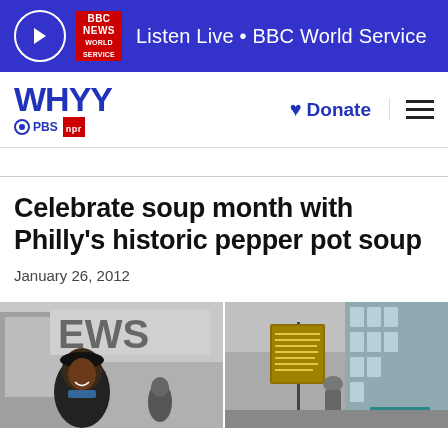Listen Live • BBC World Service
[Figure (logo): WHYY PBS NPR logo with Donate button and hamburger menu]
Celebrate soup month with Philly's historic pepper pot soup
January 26, 2012
[Figure (photo): Two side-by-side street photos in Philadelphia — left shows a woman smiling near a building with 'EWS' lettering, right shows a historical marker sign and city street scene]